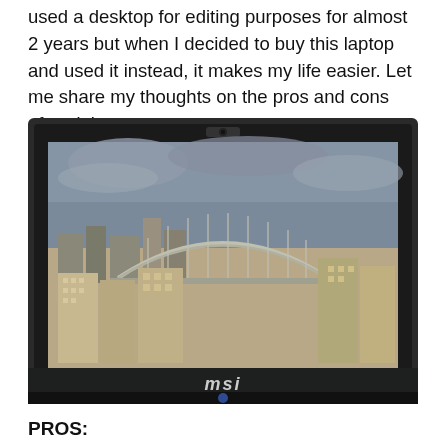used a desktop for editing purposes for almost 2 years but when I decided to buy this laptop and used it instead, it makes my life easier. Let me share my thoughts on the pros and cons after doing some test.
[Figure (photo): An MSI laptop opened on a wooden surface, displaying a cityscape with a bridge and buildings on its screen.]
PROS: